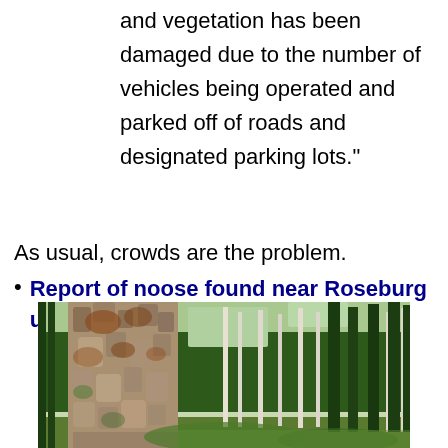and vegetation has been damaged due to the number of vehicles being operated and parked off of roads and designated parking lots."
As usual, crowds are the problem.
Report of noose found near Roseburg under investigation
[Figure (photo): Forest scene with a large textured tree trunk in the foreground and tall thin birch/pine trees in the background with green foliage]